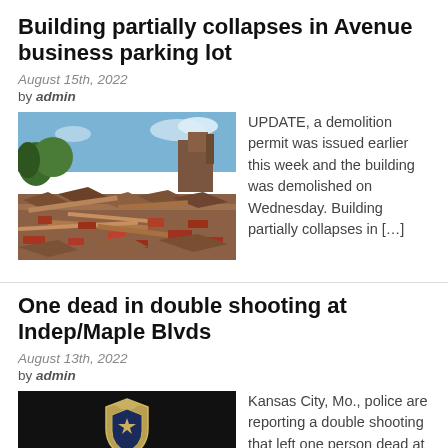Building partially collapses in Avenue business parking lot
August 15th, 2022
by admin
[Figure (photo): Photo of a building collapse – large pile of rubble, bricks, and debris with trees and sky visible in background]
UPDATE, a demolition permit was issued earlier this week and the building was demolished on Wednesday. Building partially collapses in […]
One dead in double shooting at Indep/Maple Blvds
August 13th, 2022
by admin
[Figure (photo): Kansas City police badge/logo on black background with KCPD text]
Kansas City, Mo., police are reporting a double shooting that left one person dead at the BP at